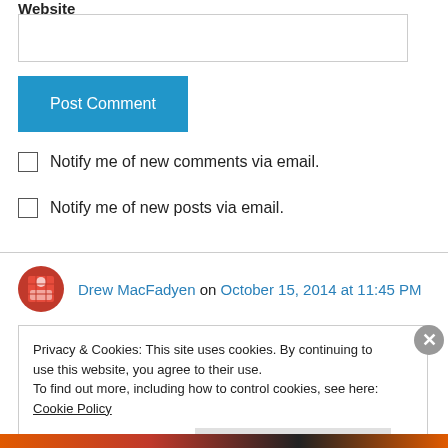Website
[Figure (other): Website text input field (empty)]
[Figure (other): Post Comment button (blue)]
Notify me of new comments via email.
Notify me of new posts via email.
Drew MacFadyen on October 15, 2014 at 11:45 PM
Privacy & Cookies: This site uses cookies. By continuing to use this website, you agree to their use.
To find out more, including how to control cookies, see here: Cookie Policy
Close and accept